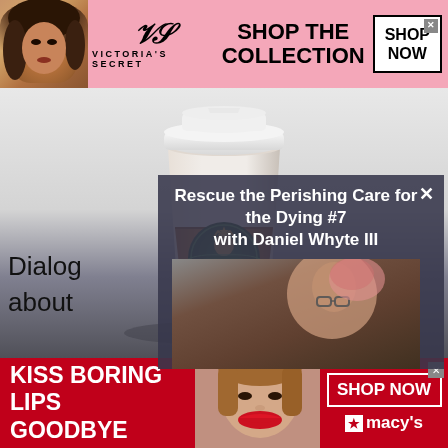[Figure (illustration): Victoria's Secret advertisement banner with model, VS logo, 'SHOP THE COLLECTION' text and SHOP NOW button]
[Figure (photo): Starbucks coffee cup with brown sleeve and green mermaid logo, placed on a wooden surface against a light gray background]
Rescue the Perishing Care for the Dying #7 with Daniel Whyte III
Dialog
about
[Figure (photo): Macy's advertisement banner: 'KISS BORING LIPS GOODBYE' with woman with red lips, SHOP NOW button and Macy's star logo]